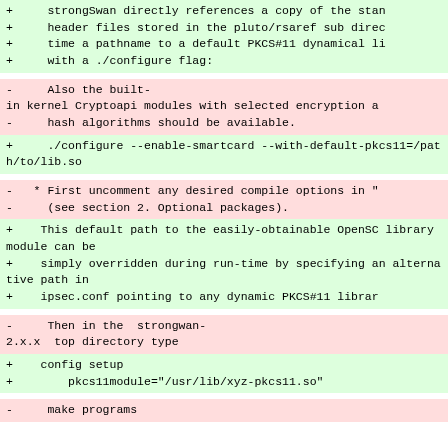+ strongSwan directly references a copy of the stan
+ header files stored in the pluto/rsaref sub direc
+ time a pathname to a default PKCS#11 dynamical li
+ with a ./configure flag:
- Also the built-
in kernel Cryptoapi modules with selected encryption a
- hash algorithms should be available.
+ ./configure --enable-smartcard --with-default-pkcs11=/path/to/lib.so
- * First uncomment any desired compile options in "
- (see section 2. Optional packages).
+ This default path to the easily-obtainable OpenSC library module can be
+ simply overridden during run-time by specifying an alternative path in
+ ipsec.conf pointing to any dynamic PKCS#11 librar
- Then in the strongwan-
2.x.x top directory type
+ config setup
+ pkcs11module="/usr/lib/xyz-pkcs11.so"
- make programs